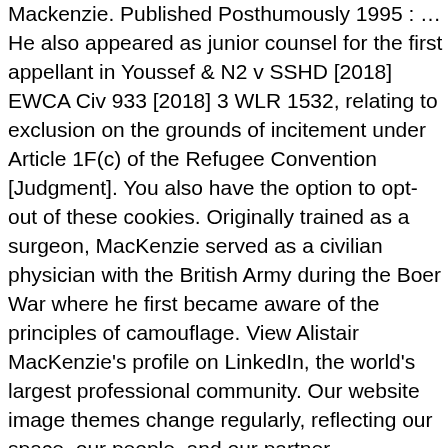Mackenzie. Published Posthumously 1995 : … He also appeared as junior counsel for the first appellant in Youssef & N2 v SSHD [2018] EWCA Civ 933 [2018] 3 WLR 1532, relating to exclusion on the grounds of incitement under Article 1F(c) of the Refugee Convention [Judgment]. You also have the option to opt-out of these cookies. Originally trained as a surgeon, MacKenzie served as a civilian physician with the British Army during the Boer War where he first became aware of the principles of camouflage. View Alistair MacKenzie's profile on LinkedIn, the world's largest professional community. Our website image themes change regularly, reflecting our space, our people, and our partner organisations - Click Here to learn more. There are 60+ professionals named "Alistair Mackenzie", who use LinkedIn … 2427356 VAT 321572722, Registered address: 188 Fleet Street, London, EC4A 2AG. He is particularly sought after in cases involving jurisdiction and conflict of laws disputes and has already developed a reputation for providing pragmatic and commercial advice. Join Facebook to connect with Alistair Mackenzie and others you